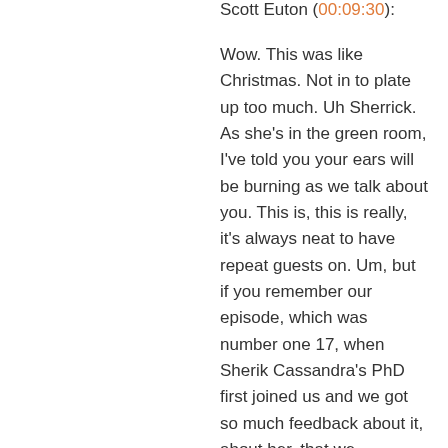Scott Euton (00:09:30):
Wow. This was like Christmas. Not in to plate up too much. Uh Sherrick. As she's in the green room, I've told you your ears will be burning as we talk about you. This is, this is really, it's always neat to have repeat guests on. Um, but if you remember our episode, which was number one 17, when Sherik Cassandra's PhD first joined us and we got so much feedback about it, about her, that we rereleased it as a classic play during the holidays. And then that our team's like, Hey, we got to have her back and let's do let's, let's